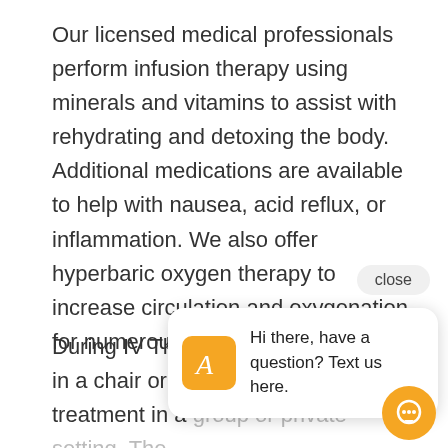Our licensed medical professionals perform infusion therapy using minerals and vitamins to assist with rehydrating and detoxing the body. Additional medications are available to help with nausea, acid reflux, or inflammation. We also offer hyperbaric oxygen therapy to increase circulation and oxygenation for numerous health benefits.
During IV The[rapy, you will relax] in a chair or re[cliner and receive] treatment in a group or private setting. The treatment process is 30 minutes or less depending on the amount of needed fluids, most clients see improved results right away.